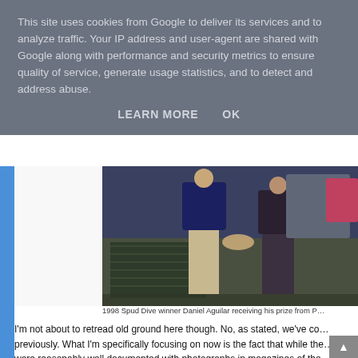This site uses cookies from Google to deliver its services and to analyze traffic. Your IP address and user-agent are shared with Google along with performance and security metrics to ensure quality of service, generate usage statistics, and to detect and address abuse.
LEARN MORE   OK
[Figure (photo): People shaking hands outdoors near rows of plants, 1998 Spud Dive event photo]
1998 Spud Dive winner Daniel Aguilar receiving his prize from P…
I'm not about to retread old ground here though. No, as stated, we've covered this previously. What I'm specifically focusing on now is the fact that while the events were reasonably well documented with photographs in magazines of the time, blogs on the event posted online; and were also recapped on some PR f… there doesn't seem to be any video of either Spud Dive event anywhere…